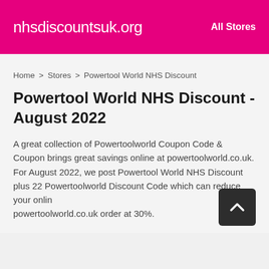nhsdiscountsuk.org   All Stores
Home > Stores > Powertool World NHS Discount
Powertool World NHS Discount - August 2022
A great collection of Powertoolworld Coupon Code & Coupon brings great savings online at powertoolworld.co.uk. For August 2022, we post Powertool World NHS Discount plus 22 Powertoolworld Discount Code which can reduce your online powertoolworld.co.uk order at 30%.